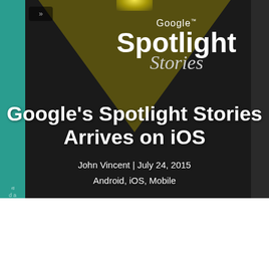[Figure (screenshot): Google Spotlight Stories app screenshot showing the app logo with a spotlight beam illuminating 'Google Spotlight Stories' text on a dark background, with teal panel on left and dark strip on right.]
Google's Spotlight Stories Arrives on iOS
John Vincent | July 24, 2015
Android, iOS, Mobile